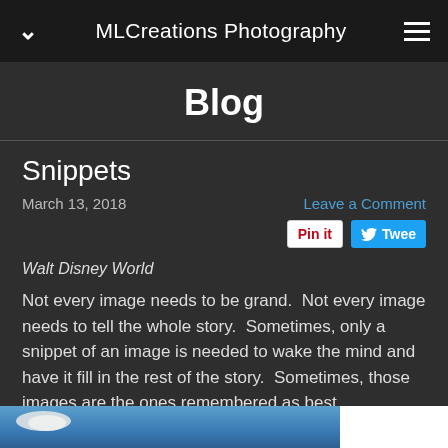MLCreations Photography
Blog
Snippets
March 13, 2018
Leave a Comment
Walt Disney World
Not every image needs to be grand.  Not every image needs to tell the whole story.  Sometimes, only a snippet of an image is needed to wake the mind and have it fill in the rest of the story.  Sometimes, those images are the ones remembered as best...
[Figure (photo): Partial view of a blue sky with clouds and what appears to be a structure at Walt Disney World]